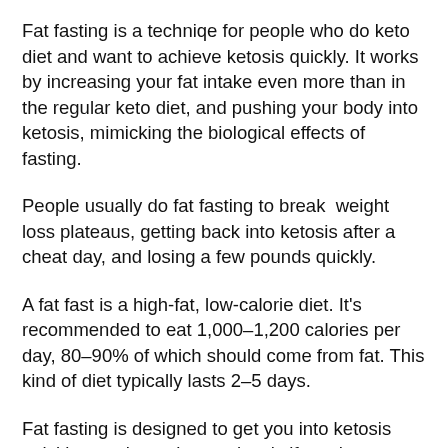Fat fasting is a techniqe for people who do keto diet and want to achieve ketosis quickly. It works by increasing your fat intake even more than in the regular keto diet, and pushing your body into ketosis, mimicking the biological effects of fasting.
People usually do fat fasting to break  weight loss plateaus, getting back into ketosis after a cheat day, and losing a few pounds quickly.
A fat fast is a high-fat, low-calorie diet. It's recommended to eat 1,000–1,200 calories per day, 80–90% of which should come from fat. This kind of diet typically lasts 2–5 days.
Fat fasting is designed to get you into ketosis quickly or to boost ketone levels if you have already achieved ketosis by restricting both your calorie and carb intake